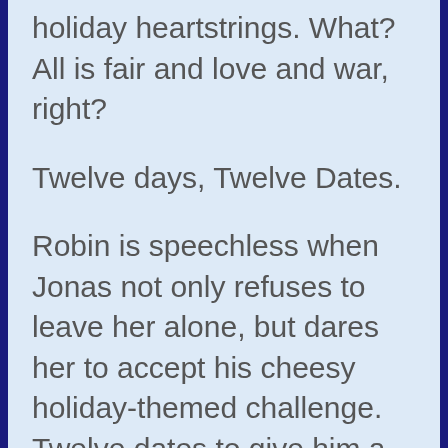holiday heartstrings. What? All is fair and love and war, right?
Twelve days, Twelve Dates.
Robin is speechless when Jonas not only refuses to leave her alone, but dares her to accept his cheesy holiday-themed challenge. Twelve dates to give him a chance to prove that he loves her and is never leaving her